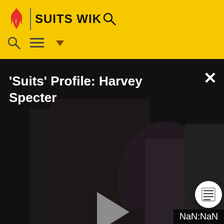SUITS WIKI
'Suits' Profile: Harvey Specter
[Figure (screenshot): Video player showing a dark silhouette of Harvey Specter with a play button in the center. Title reads 'Suits' Profile: Harvey Specter'. Timer shows NaN:NaN in bottom right corner.]
[Figure (photo): Harvey Specter A.D.A. file photo showing a man in a suit and tie]
HARVEY SPECTER, A.D.A.
File Photo
Bayview federal prison.
my witnesses" says the young A.D.A., "It was my job to convince them to participate and once I did, the conclusion was inevitable". John Farmer was sentenced by the judge to serve 15 years for 11 separate charges and will serve is time in the